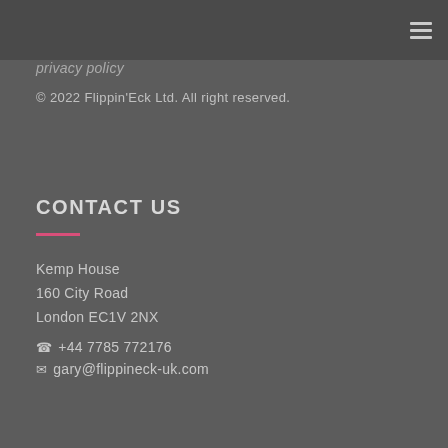privacy policy
© 2022 Flippin'Eck Ltd. All right reserved.
CONTACT US
Kemp House
160 City Road
London EC1V 2NX
+44 7785 772176
gary@flippineck-uk.com